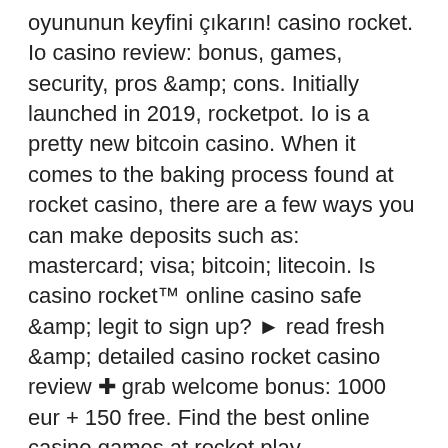oyununun keyfini çıkarın! casino rocket. Io casino review: bonus, games, security, pros &amp; cons. Initially launched in 2019, rocketpot. Io is a pretty new bitcoin casino. When it comes to the baking process found at rocket casino, there are a few ways you can make deposits such as: mastercard; visa; bitcoin; litecoin. Is casino rocket™ online casino safe &amp; legit to sign up? ► read fresh &amp; detailed casino rocket casino review ✚ grab welcome bonus: 1000 eur + 150 free. Find the best online casino games at rocket play. Introducing fast and anonymous crypto transactions with added bonuses for a perfect game Rocketpot casino review 2022 big welcome bonus ✓ 4000+ games ✓ crypto only ✓ sportsbook section ✓ 24/7 live chat. But what about those who do not like slots? bitcoin casinos offer indispensable attributes of traditional casino table games for such players. Rocketpot - best crypto casino and